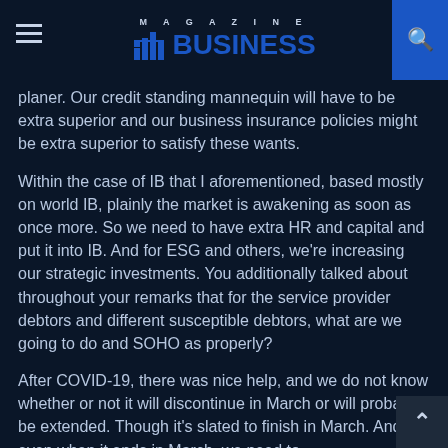MAGAZINE BUSINESS
planer. Our credit standing mannequin will have to be extra superior and our business insurance policies might be extra superior to satisfy these wants.
Within the case of IB that I aforementioned, based mostly on world IB, plainly the market is awakening as soon as once more. So we need to have extra HR and capital and put it into IB. And for ESG and others, we're increasing our strategic investments. You additionally talked about throughout your remarks that for the service provider debtors and different susceptible debtors, what are we going to do and SOHO as properly?
After COVID-19, there was nice help, and we do not know whether or not it will discontinue in March or will probably be extended. Though it's slated to finish in March. And even when it ends in March, we need to